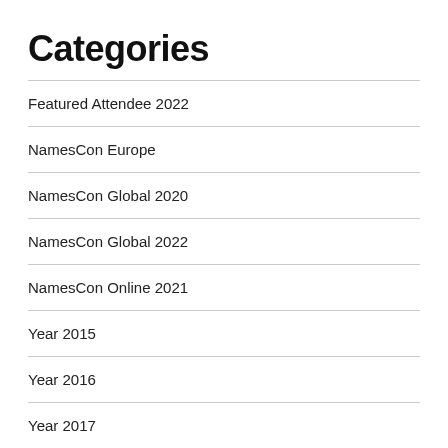Categories
Featured Attendee 2022
NamesCon Europe
NamesCon Global 2020
NamesCon Global 2022
NamesCon Online 2021
Year 2015
Year 2016
Year 2017
Year 2018